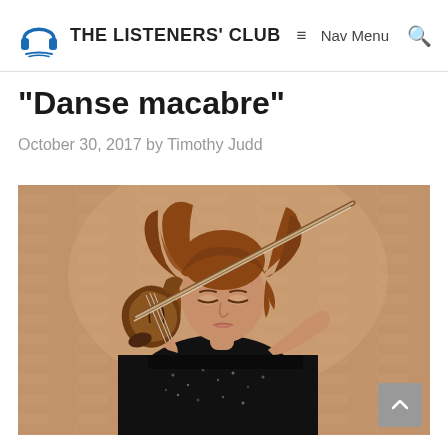THE LISTENERS' CLUB  Nav Menu
"Danse macabre"
October 30, 2017 by Timothy Judd
[Figure (photo): A female violinist with flowing auburn hair wearing a black sequined dress, playing violin against a brick wall background. Professional portrait photo.]